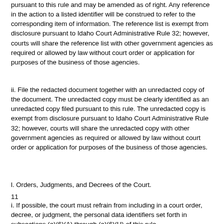pursuant to this rule and may be amended as of right. Any reference in the action to a listed identifier will be construed to refer to the corresponding item of information. The reference list is exempt from disclosure pursuant to Idaho Court Administrative Rule 32; however, courts will share the reference list with other government agencies as required or allowed by law without court order or application for purposes of the business of those agencies.
ii. File the redacted document together with an unredacted copy of the document. The unredacted copy must be clearly identified as an unredacted copy filed pursuant to this rule. The unredacted copy is exempt from disclosure pursuant to Idaho Court Administrative Rule 32; however, courts will share the unredacted copy with other government agencies as required or allowed by law without court order or application for purposes of the business of those agencies.
l. Orders, Judgments, and Decrees of the Court.
11
i. If possible, the court must refrain from including in a court order, decree, or judgment, the personal data identifiers set forth in subsections (e)(6)(A) through (e)(6)(H) of this rule.